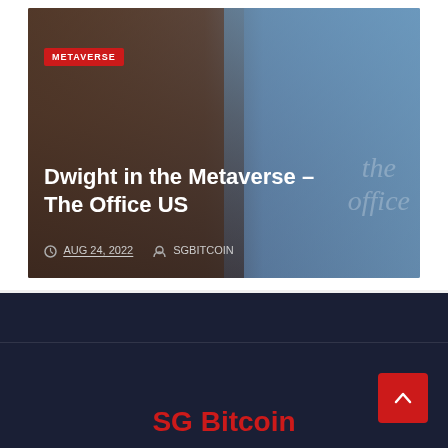[Figure (photo): Photo showing Dwight Schrute character from The Office US on left side (real actor with glasses, headset, brown hair) and a 3D CGI avatar version of the same character on the right, with 'the office' watermark text. Red METAVERSE badge overlay in upper left. Article title 'Dwight in the Metaverse – The Office US' overlaid in white text. Date and author metadata: AUG 24, 2022 | SGBITCOIN.]
Dwight in the Metaverse – The Office US
AUG 24, 2022  SGBITCOIN
SG Bitcoin